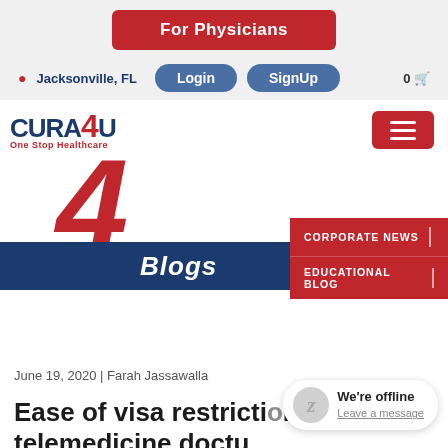For Physicians
Jacksonville, FL | Login | SignUp | 0
[Figure (logo): CURA4U logo with tagline One Stop Healthcare]
[Figure (illustration): Large red italic number 4 decorative element behind Blogs banner]
Blogs
CORPORATE NEWS
EDUCATIONAL BLOG
June 19, 2020 | Farah Jassawalla
Ease of visa restrictions for telemedicine docto
[Figure (illustration): We're offline chat widget with Leave a message link]